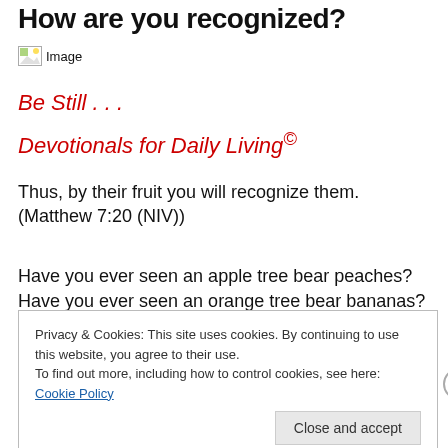How are you recognized?
[Figure (photo): Broken image placeholder labeled 'Image']
Be Still . . .
Devotionals for Daily Living©
Thus, by their fruit you will recognize them. (Matthew 7:20 (NIV))
Have you ever seen an apple tree bear peaches? Have you ever seen an orange tree bear bananas? In the
Privacy & Cookies: This site uses cookies. By continuing to use this website, you agree to their use.
To find out more, including how to control cookies, see here: Cookie Policy
Close and accept